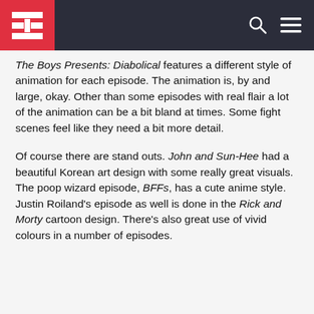[Figure (logo): Website header with dark background, red square logo with stylized H/film icon, search icon and hamburger menu icon]
The Boys Presents: Diabolical features a different style of animation for each episode. The animation is, by and large, okay. Other than some episodes with real flair a lot of the animation can be a bit bland at times. Some fight scenes feel like they need a bit more detail.
Of course there are stand outs. John and Sun-Hee had a beautiful Korean art design with some really great visuals. The poop wizard episode, BFFs, has a cute anime style. Justin Roiland's episode as well is done in the Rick and Morty cartoon design. There's also great use of vivid colours in a number of episodes.